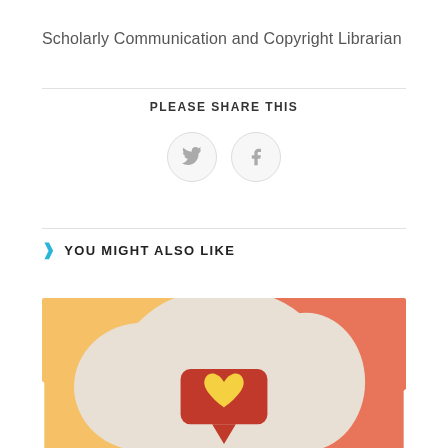Scholarly Communication and Copyright Librarian
PLEASE SHARE THIS
[Figure (illustration): Twitter and Facebook social share buttons as circular icon buttons]
YOU MIGHT ALSO LIKE
[Figure (illustration): Decorative illustration with orange, salmon/coral and beige abstract shapes, featuring a red speech bubble with a yellow heart icon in the center]